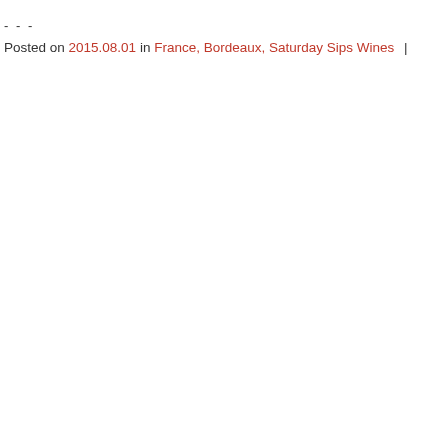- - -
Posted on 2015.08.01 in France, Bordeaux, Saturday Sips Wines  |